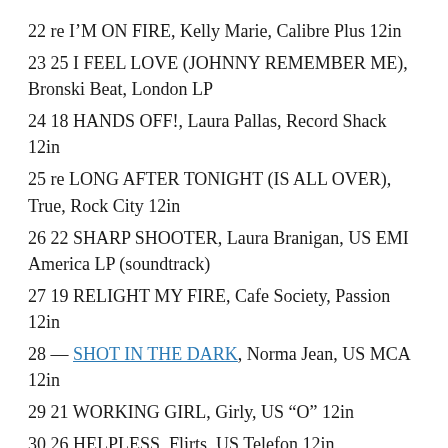22 re I'M ON FIRE, Kelly Marie, Calibre Plus 12in
23 25 I FEEL LOVE (JOHNNY REMEMBER ME), Bronski Beat, London LP
24 18 HANDS OFF!, Laura Pallas, Record Shack 12in
25 re LONG AFTER TONIGHT (IS ALL OVER), True, Rock City 12in
26 22 SHARP SHOOTER, Laura Branigan, US EMI America LP (soundtrack)
27 19 RELIGHT MY FIRE, Cafe Society, Passion 12in
28 — SHOT IN THE DARK, Norma Jean, US MCA 12in
29 21 WORKING GIRL, Girly, US “O” 12in
30 26 HELPLESS, Flirts, US Telefon 12in